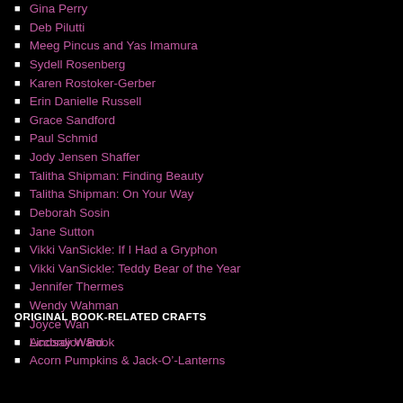Gina Perry
Deb Pilutti
Meeg Pincus and Yas Imamura
Sydell Rosenberg
Karen Rostoker-Gerber
Erin Danielle Russell
Grace Sandford
Paul Schmid
Jody Jensen Shaffer
Talitha Shipman: Finding Beauty
Talitha Shipman: On Your Way
Deborah Sosin
Jane Sutton
Vikki VanSickle: If I Had a Gryphon
Vikki VanSickle: Teddy Bear of the Year
Jennifer Thermes
Wendy Wahman
Joyce Wan
Lindsay Ward
ORIGINAL BOOK-RELATED CRAFTS
Accordion Book
Acorn Pumpkins & Jack-O'-Lanterns